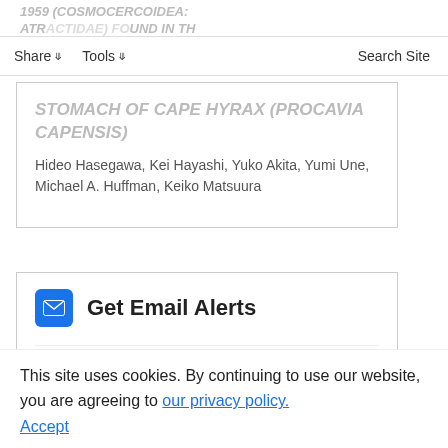1959 (COSMOCERCOIDEA: ATRACTIDAE) FOUND IN THE STOMACH OF CAPE HYRAX (PROCAVIA CAPENSIS)
STOMACH OF CAPE HYRAX (PROCAVIA CAPENSIS)
Hideo Hasegawa, Kei Hayashi, Yuko Akita, Yumi Une, Michael A. Huffman, Keiko Matsuura
Get Email Alerts
Article Activity Alert
Latest Issue Alert
New Content Alert
This site uses cookies. By continuing to use our website, you are agreeing to our privacy policy. Accept